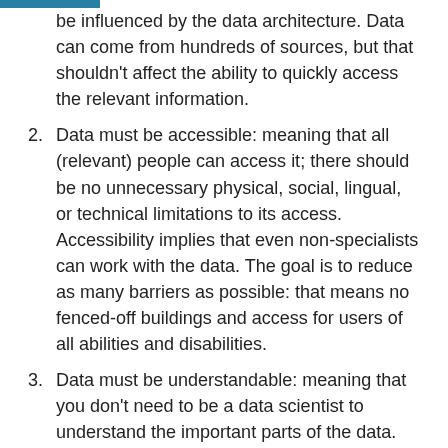be influenced by the data architecture. Data can come from hundreds of sources, but that shouldn't affect the ability to quickly access the relevant information.
2. Data must be accessible: meaning that all (relevant) people can access it; there should be no unnecessary physical, social, lingual, or technical limitations to its access. Accessibility implies that even non-specialists can work with the data. The goal is to reduce as many barriers as possible: that means no fenced-off buildings and access for users of all abilities and disabilities.
3. Data must be understandable: meaning that you don't need to be a data scientist to understand the important parts of the data. Understandability can relate to the intuitiveness and presentability of the data and interface. The objective is to support user comprehension of the data, and ultimately insights. They should be able to see the big picture, but also